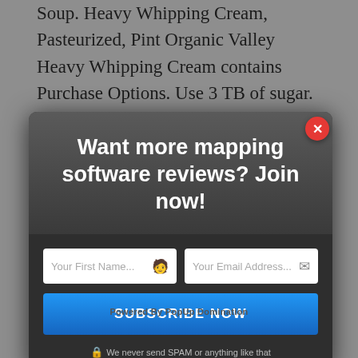Soup. Heavy Whipping Cream, Pasteurized, Pint Organic Valley Heavy Whipping Cream contains Purchase Options. Use 3 TB of sugar. Beat with a hand mixer on high until the cream starts to
[Figure (screenshot): A popup modal overlay with dark background. Title reads 'Want more mapping software reviews? Join now!' with two input fields (Your First Name... and Your Email Address...) and a blue SUBSCRIBE NOW button. A red X close button is in the top right corner. Bottom shows a spam disclaimer.]
Dairy. There is just no substitute for homemade. For a vegan, dairy-free alternative to heavy cream, try mixing soy milk with ... NO SIGNIFICANT DIFFERENCE HAS BEEN SHOWN BETWEEN MILK DERIVED FROM rBST TREATED AND NON-rBST TREATED COWS. "Soft peaks" is the consistency you generally
Powered By PopUp Domination